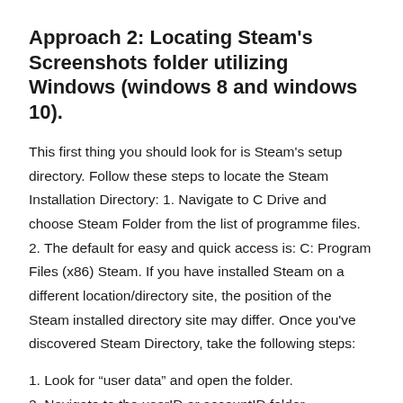Approach 2: Locating Steam's Screenshots folder utilizing Windows (windows 8 and windows 10).
This first thing you should look for is Steam's setup directory. Follow these steps to locate the Steam Installation Directory: 1. Navigate to C Drive and choose Steam Folder from the list of programme files. 2. The default for easy and quick access is: C: Program Files (x86) Steam. If you have installed Steam on a different location/directory site, the position of the Steam installed directory site may differ. Once you've discovered Steam Directory, take the following steps:
1. Look for “user data” and open the folder.
2. Navigate to the userID or accountID folder.
3. Look for the folder 760 and select “remote.”